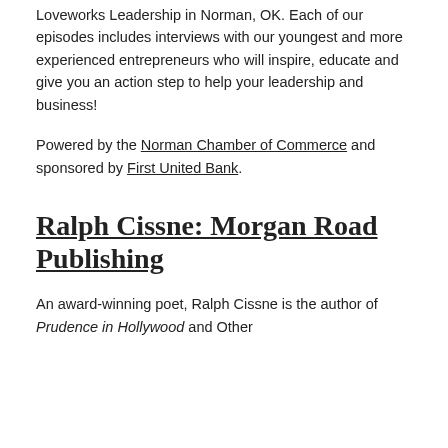Loveworks Leadership in Norman, OK. Each of our episodes includes interviews with our youngest and more experienced entrepreneurs who will inspire, educate and give you an action step to help your leadership and business!
Powered by the Norman Chamber of Commerce and sponsored by First United Bank.
Ralph Cissne: Morgan Road Publishing
An award-winning poet, Ralph Cissne is the author of Prudence in Hollywood and Other